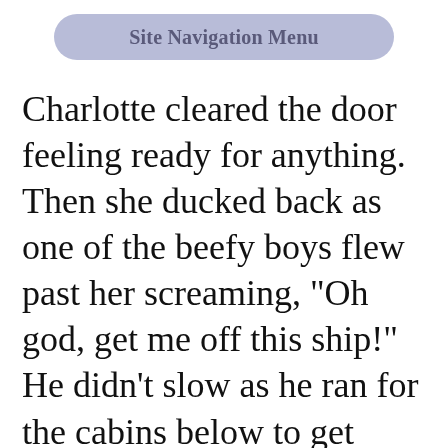Site Navigation Menu
Charlotte cleared the door feeling ready for anything. Then she ducked back as one of the beefy boys flew past her screaming, "Oh god, get me off this ship!" He didn't slow as he ran for the cabins below to get whatever it was he thought he absolutely needed. She figured